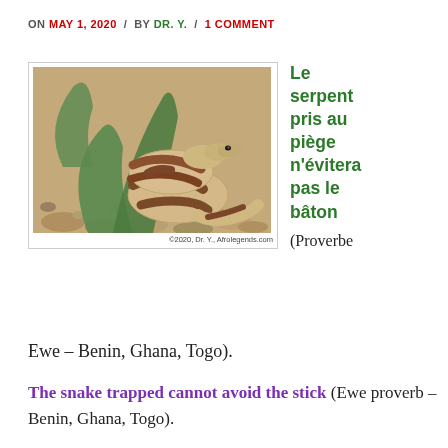ON MAY 1, 2020 / BY DR. Y. / 1 COMMENT
[Figure (photo): A coiled snake with brown and tan banding lying among rocks and a large succulent plant. Copyright text reads: ©2020, Dr. Y., Afrolegends.com]
Le serpent pris au piège n'évitera pas le bâton (Proverbe Ewe – Benin, Ghana, Togo).
The snake trapped cannot avoid the stick (Ewe proverb – Benin, Ghana, Togo).